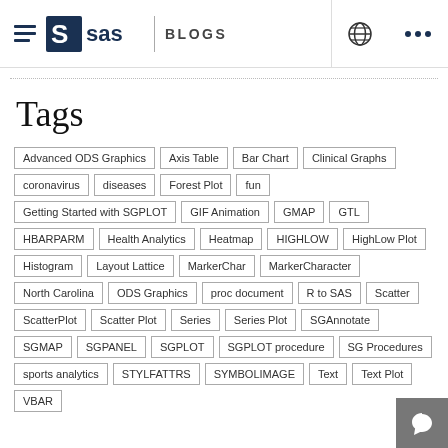SAS BLOGS
Tags
Advanced ODS Graphics
Axis Table
Bar Chart
Clinical Graphs
coronavirus
diseases
Forest Plot
fun
Getting Started with SGPLOT
GIF Animation
GMAP
GTL
HBARPARM
Health Analytics
Heatmap
HIGHLOW
HighLow Plot
Histogram
Layout Lattice
MarkerChar
MarkerCharacter
North Carolina
ODS Graphics
proc document
R to SAS
Scatter
ScatterPlot
Scatter Plot
Series
Series Plot
SGAnnotate
SGMAP
SGPANEL
SGPLOT
SGPLOT procedure
SG Procedures
sports analytics
STYLFATTRS
SYMBOLIMAGE
Text
Text Plot
VBAR